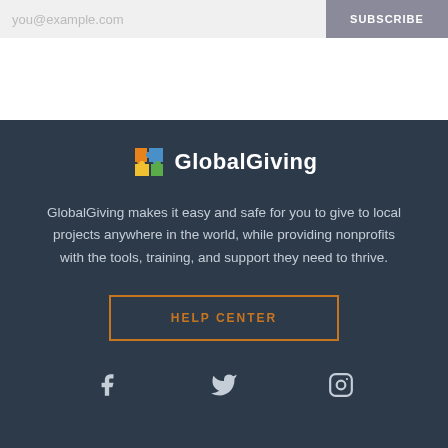you@example.com
SUBSCRIBE
[Figure (logo): GlobalGiving logo with colorful puzzle-piece icon and white text 'GlobalGiving']
GlobalGiving makes it easy and safe for you to give to local projects anywhere in the world, while providing nonprofits with the tools, training, and support they need to thrive.
HELP CENTER
[Figure (other): Social media icons: Facebook, Twitter, Instagram]